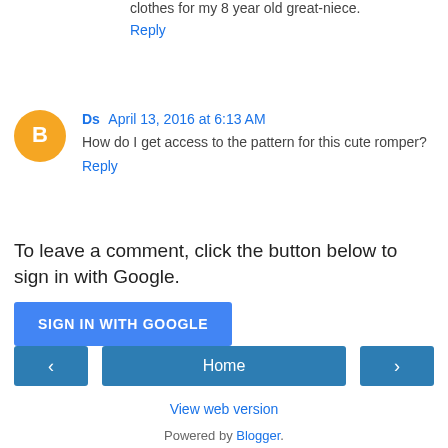clothes for my 8 year old great-niece.
Reply
Ds April 13, 2016 at 6:13 AM
How do I get access to the pattern for this cute romper?
Reply
To leave a comment, click the button below to sign in with Google.
[Figure (other): SIGN IN WITH GOOGLE button]
[Figure (other): Navigation: back arrow, Home, forward arrow buttons]
View web version
Powered by Blogger.